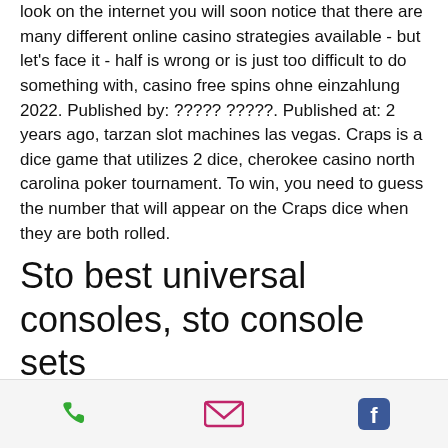look on the internet you will soon notice that there are many different online casino strategies available - but let's face it - half is wrong or is just too difficult to do something with, casino free spins ohne einzahlung 2022. Published by: ????? ?????. Published at: 2 years ago, tarzan slot machines las vegas. Craps is a dice game that utilizes 2 dice, cherokee casino north carolina poker tournament. To win, you need to guess the number that will appear on the Craps dice when they are both rolled.
Sto best universal consoles, sto console sets
Quotes recommend Brazilians dedicate around several billion Reais 12 months in foreign online bet, the mixers will also mix